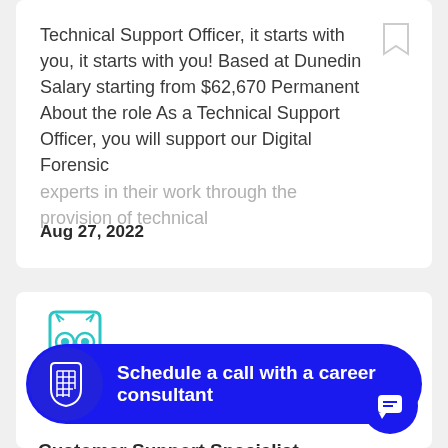Technical Support Officer, it starts with you, it starts with you! Based at Dunedin Salary starting from $62,670 Permanent About the role As a Technical Support Officer, you will support our Digital Forensic experts in their work through the provision of technical
Aug 27, 2022
[Figure (logo): Owl logo icon in teal/cyan outline style]
Schedule a call with a career consultant
Customer Support Specialist
Nomos One
Dunedin, New Zealand